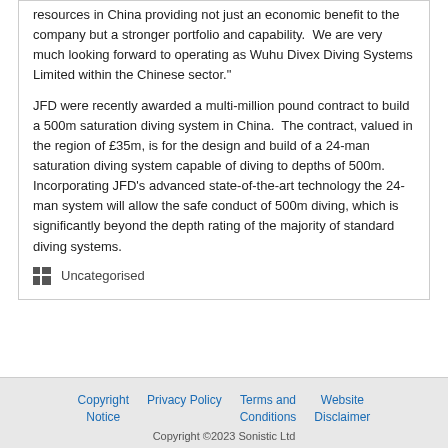resources in China providing not just an economic benefit to the company but a stronger portfolio and capability.  We are very much looking forward to operating as Wuhu Divex Diving Systems Limited within the Chinese sector."
JFD were recently awarded a multi-million pound contract to build a 500m saturation diving system in China.  The contract, valued in the region of £35m, is for the design and build of a 24-man saturation diving system capable of diving to depths of 500m.  Incorporating JFD's advanced state-of-the-art technology the 24-man system will allow the safe conduct of 500m diving, which is significantly beyond the depth rating of the majority of standard diving systems.
Uncategorised
Copyright Notice   Privacy Policy   Terms and Conditions   Website Disclaimer
Copyright ©2023 Sonistic Ltd